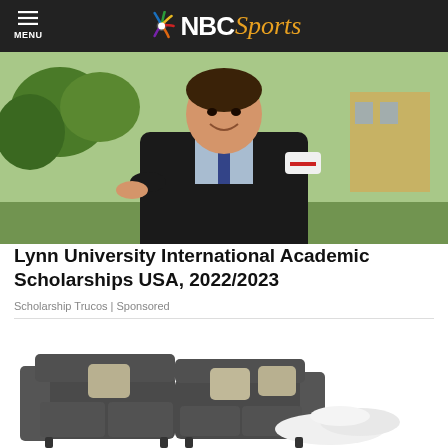MENU | NBC Sports
[Figure (photo): A smiling male graduate in black cap and gown holding a diploma scroll tied with red ribbon, outdoors with trees and buildings in background.]
Lynn University International Academic Scholarships USA, 2022/2023
Scholarship Trucos | Sponsored
[Figure (photo): A dark gray sectional sofa with light gray throw pillows and a white fluffy blanket draped over the corner, shown on a white background.]